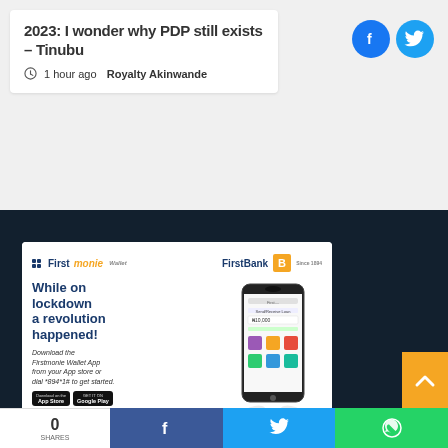2023: I wonder why PDP still exists – Tinubu
1 hour ago  Royalty Akinwande
[Figure (infographic): Firstmonie Wallet / FirstBank advertisement showing phone app with text 'While on lockdown a revolution happened!' and download instructions]
0 SHARES